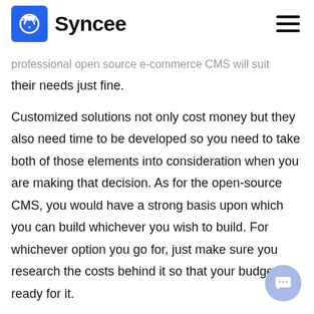Syncee
professional open source e-commerce CMS will suit their needs just fine.
Customized solutions not only cost money but they also need time to be developed so you need to take both of those elements into consideration when you are making that decision. As for the open-source CMS, you would have a strong basis upon which you can build whichever you wish to build. For whichever option you go for, just make sure you research the costs behind it so that your budget is ready for it.
Research the keywords